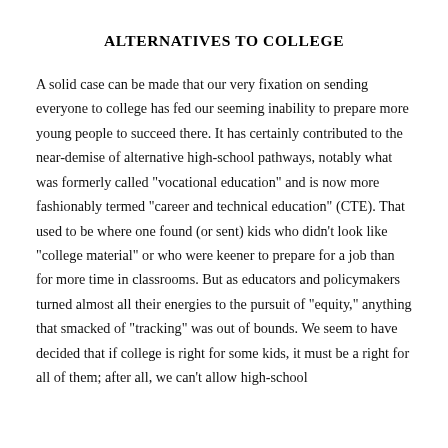ALTERNATIVES TO COLLEGE
A solid case can be made that our very fixation on sending everyone to college has fed our seeming inability to prepare more young people to succeed there. It has certainly contributed to the near-demise of alternative high-school pathways, notably what was formerly called "vocational education" and is now more fashionably termed "career and technical education" (CTE). That used to be where one found (or sent) kids who didn't look like "college material" or who were keener to prepare for a job than for more time in classrooms. But as educators and policymakers turned almost all their energies to the pursuit of "equity," anything that smacked of "tracking" was out of bounds. We seem to have decided that if college is right for some kids, it must be a right for all of them; after all, we can't allow high-school